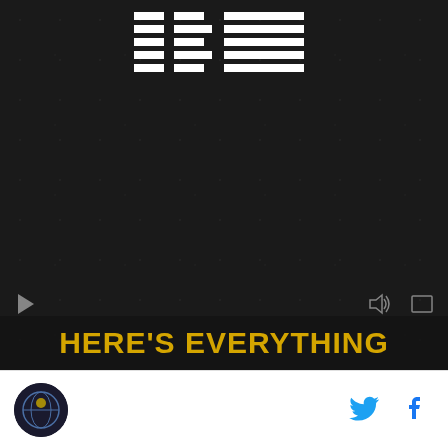[Figure (screenshot): IBM logo in white striped lettering on dark/black background, resembling a video thumbnail with play, volume, and fullscreen controls visible at the bottom of the video area]
HERE'S EVERYTHING
[Figure (logo): Circular site logo with dark background showing a figure/planet illustration]
[Figure (logo): Twitter bird icon in blue]
[Figure (logo): Facebook 'f' icon in blue]